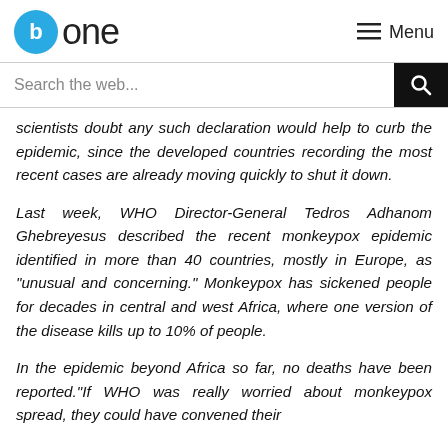Bone one — Menu
Search the web...
scientists doubt any such declaration would help to curb the epidemic, since the developed countries recording the most recent cases are already moving quickly to shut it down.
Last week, WHO Director-General Tedros Adhanom Ghebreyesus described the recent monkeypox epidemic identified in more than 40 countries, mostly in Europe, as "unusual and concerning." Monkeypox has sickened people for decades in central and west Africa, where one version of the disease kills up to 10% of people.
In the epidemic beyond Africa so far, no deaths have been reported."If WHO was really worried about monkeypox spread, they could have convened their